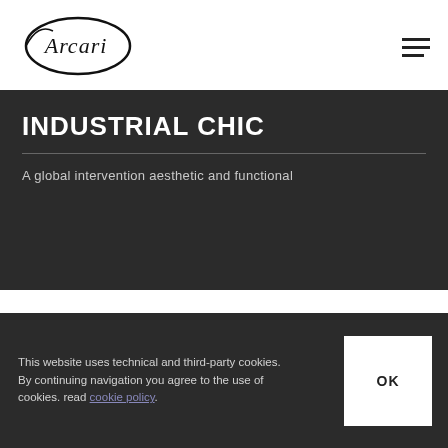[Figure (logo): Arcari brand logo in cursive/script style with oval frame, black on white]
INDUSTRIAL CHIC
A global intervention aesthetic and functional
This website uses technical and third-party cookies. By continuing navigation you agree to the use of cookies. read cookie policy.